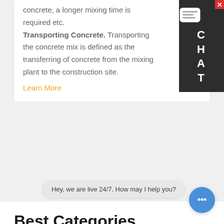concrete, a longer mixing time is required etc. Transporting Concrete. Transporting the concrete mix is defined as the transferring of concrete from the mixing plant to the construction site.
Learn More
[Figure (other): Chat widget on right side with dark background showing CHAT label and close button]
Best Categories
compulsory ready mix concrete suppliers in italy
Concrete Plants SIMEMMobile Concrete Batching Plant
Hey, we are live 24/7. How may I help you?